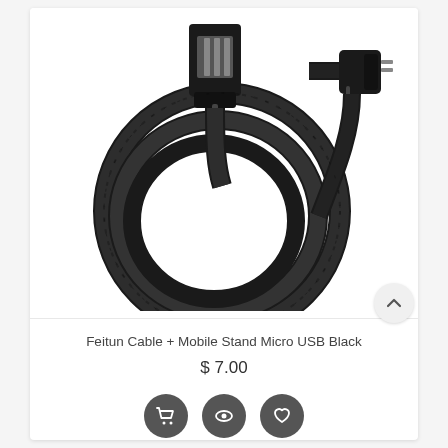[Figure (photo): Black braided Micro USB cable with right-angle connector on one end and standard USB-A connector on the other, coiled in a circle on white background.]
Feitun Cable + Mobile Stand Micro USB Black
$ 7.00